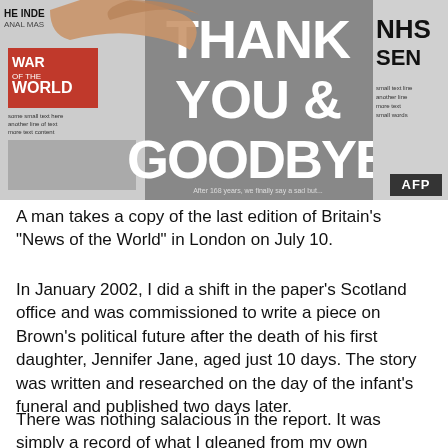[Figure (photo): A man's hand holds up multiple newspaper front pages. The central visible headline reads 'THANK YOU & GOODBYE' in large white text on a dark/busy background. To the left is a newspaper with 'WAR OF THE WORLD' in a red box and 'THE INDEPENDENT' masthead. To the right is another newspaper showing 'NHS' and 'SEN'. An AFP watermark/credit appears in the bottom right corner of the photo.]
A man takes a copy of the last edition of Britain's "News of the World" in London on July 10.
In January 2002, I did a shift in the paper's Scotland office and was commissioned to write a piece on Brown's political future after the death of his first daughter, Jennifer Jane, aged just 10 days. The story was written and researched on the day of the infant's funeral and published two days later.
There was nothing salacious in the report. It was simply a record of what I gleaned from my own